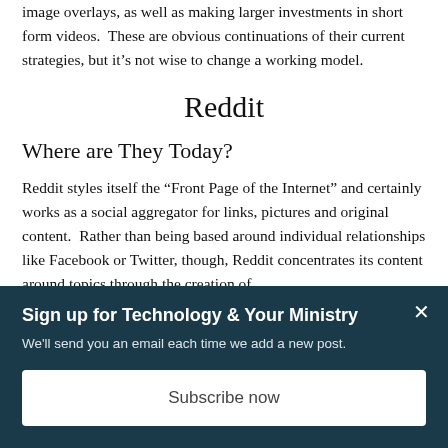image overlays, as well as making larger investments in short form videos.  These are obvious continuations of their current strategies, but it's not wise to change a working model.
Reddit
Where are They Today?
Reddit styles itself the “Front Page of the Internet” and certainly works as a social aggregator for links, pictures and original content.  Rather than being based around individual relationships like Facebook or Twitter, though, Reddit concentrates its content around topics through the creation of
Sign up for Technology & Your Ministry
We'll send you an email each time we add a new post.
Subscribe now